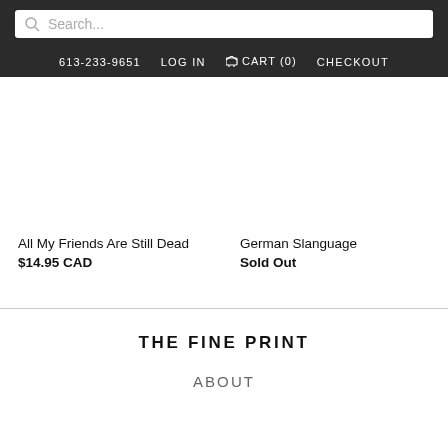Search...
613-233-9651  LOG IN  CART (0)  CHECKOUT
All My Friends Are Still Dead
$14.95 CAD
German Slanguage
Sold Out
THE FINE PRINT
ABOUT